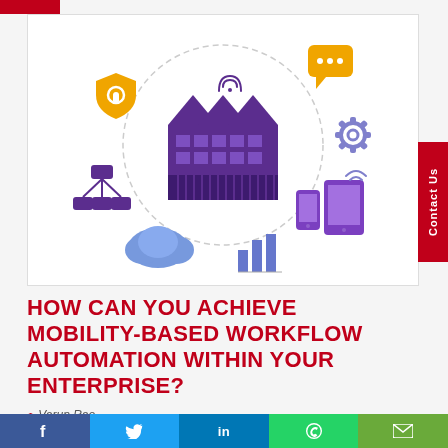[Figure (illustration): Infographic showing a smart factory/industrial building with WiFi signal in center of a dashed circle, surrounded by icons: orange shield with lock (security), orange chat bubbles, purple network/hierarchy diagram, purple smartphone and tablet with WiFi, blue bar chart, blue cloud. Background is white.]
HOW CAN YOU ACHIEVE MOBILITY-BASED WORKFLOW AUTOMATION WITHIN YOUR ENTERPRISE?
Varun Rao